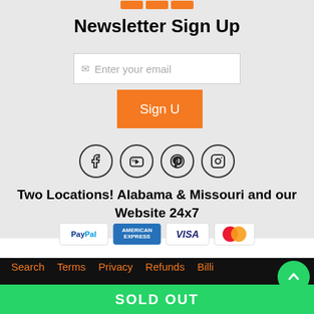Newsletter Sign Up
Enter your email
Sign U
[Figure (other): Social media icons: Facebook, YouTube, Pinterest, Instagram — each in a circle outline]
Two Locations! Alabama & Missouri and our Website 24x7
[Figure (other): Payment method logos: PayPal, American Express, Visa, Mastercard]
Search   Terms   Privacy   Refunds   Billi   Contact
SOLD OUT